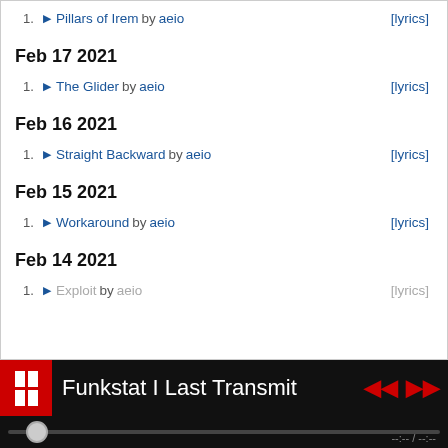1. ▶ Pillars of Irem by aeio [lyrics]
Feb 17 2021
1. ▶ The Glider by aeio [lyrics]
Feb 16 2021
1. ▶ Straight Backward by aeio [lyrics]
Feb 15 2021
1. ▶ Workaround by aeio [lyrics]
Feb 14 2021
1. ▶ Exploit by aeio [lyrics]
Funkstat I Last Transmit